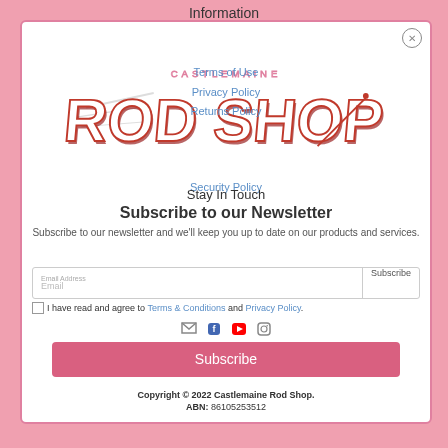Information
[Figure (logo): Castlemaine Rod Shop logo — stylized graffiti-style 'ROD SHOP' text in white with red/dark shadow, on white background with fishing rod graphic]
Terms of Use
Privacy Policy
Returns Policy
Security Policy
Stay In Touch
Subscribe to our Newsletter
Subscribe to our newsletter and we'll keep you up to date on our products and services.
Email Address  Subscribe
Email
I have read and agree to Terms & Conditions and Privacy Policy.
[Figure (illustration): Social media icons: email (envelope), Facebook, YouTube, Instagram]
Subscribe
Copyright © 2022 Castlemaine Rod Shop. ABN: 86105253512